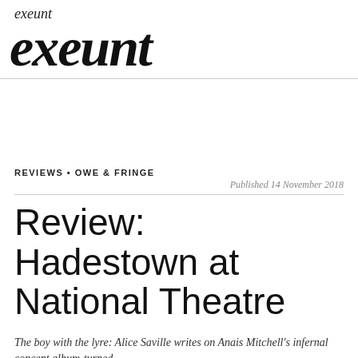exeunt
exeunt
REVIEWS • OWE & FRINGE
Published 14 November 2018
Review: Hadestown at National Theatre
The boy with the lyre: Alice Saville writes on Anais Mitchell's infernal concept album-turned-